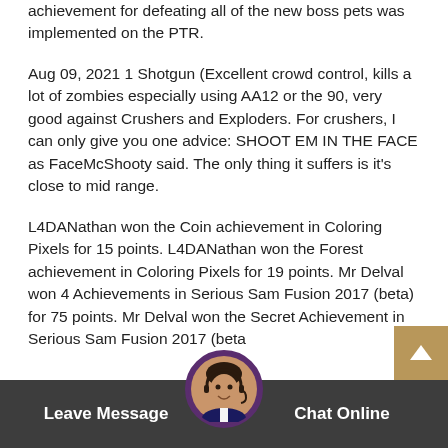achievement for defeating all of the new boss pets was implemented on the PTR.
Aug 09, 2021 1 Shotgun (Excellent crowd control, kills a lot of zombies especially using AA12 or the 90, very good against Crushers and Exploders. For crushers, I can only give you one advice: SHOOT EM IN THE FACE as FaceMcShooty said. The only thing it suffers is it's close to mid range.
L4DANathan won the Coin achievement in Coloring Pixels for 15 points. L4DANathan won the Forest achievement in Coloring Pixels for 19 points. Mr Delval won 4 Achievements in Serious Sam Fusion 2017 (beta) for 75 points. Mr Delval won the Secret Achievement in Serious Sam Fusion 2017 (beta
Leave Message  Chat Online